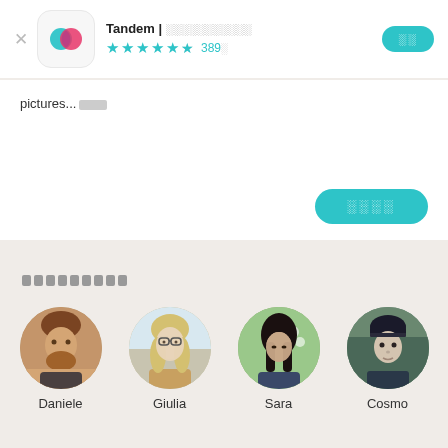[Figure (screenshot): Tandem app header card with logo, star rating (4.5 stars, 389 reviews), and open button]
pictures...
[Figure (screenshot): Continue button rendered in teal/cyan color with garbled text]
[garbled section header text]
[Figure (photo): Profile photos of four users: Daniele, Giulia, Sara, Cosmo arranged in a row with names below]
Daniele
Giulia
Sara
Cosmo